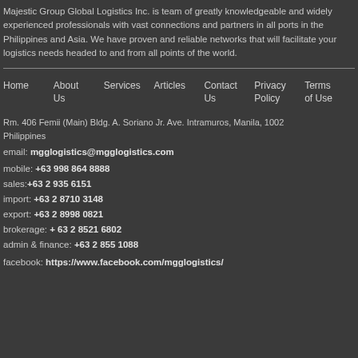Majestic Group Global Logistics Inc. is team of greatly knowledgeable and widely experienced professionals with vast connections and partners in all ports in the Philippines and Asia. We have proven and reliable networks that will facilitate your logistics needs headed to and from all points of the world.
Home | About Us | Services | Articles | Contact Us | Privacy Policy | Terms of Use
Rm. 406 Femii (Main) Bldg. A. Soriano Jr. Ave. Intramuros, Manila, 1002 Philippines
email: mgglogistics@mgglogistics.com
mobile: +63 998 864 8888
sales:+63 2 935 6151
import: +63 2 8710 3148
export: +63 2 8998 0821
brokerage: + 63 2 8521 6802
admin & finance: +63 2 855 1088
facebook: https://www.facebook.com/mgglogistics/